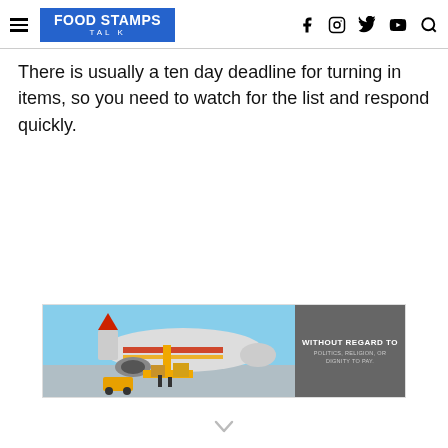FOOD STAMPS TALK
There is usually a ten day deadline for turning in items, so you need to watch for the list and respond quickly.
[Figure (photo): Advertisement banner showing a cargo airplane being loaded, with dark gray box on the right reading 'WITHOUT REGARD TO POLITICS, RELIGION, OR DIGNITY TO PAY.']